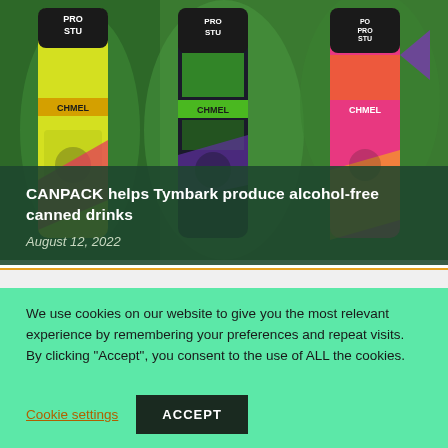[Figure (photo): Three colorful cans of Poprostu Chmel flavored drinks in yellow, dark/purple, and pink/orange colors displayed side by side against a green leafy background.]
CANPACK helps Tymbark produce alcohol-free canned drinks
August 12, 2022
We use cookies on our website to give you the most relevant experience by remembering your preferences and repeat visits. By clicking “Accept”, you consent to the use of ALL the cookies.
Cookie settings
ACCEPT